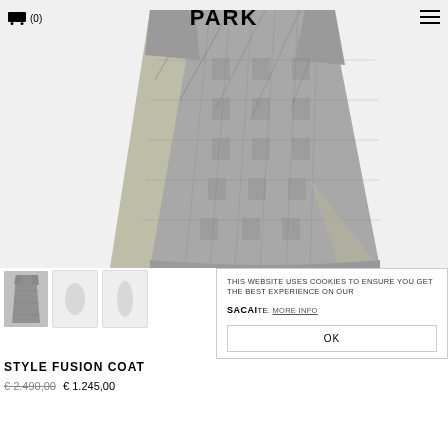🛍 (0)  PARK  ≡
[Figure (photo): Main product photo of a Sacai Style Fusion Coat — grey glen plaid wool coat layered over an olive/khaki inner layer, shown on a hanger against white background.]
[Figure (photo): Three product thumbnail images: leftmost shows the full coat front view (visible), middle and right are faded/white placeholder thumbnails.]
THIS WEBSITE USES COOKIES TO ENSURE YOU GET THE BEST EXPERIENCE ON OUR SITE. MORE INFO
SACAI
STYLE FUSION COAT
€ 2.490,00  € 1.245,00
OK